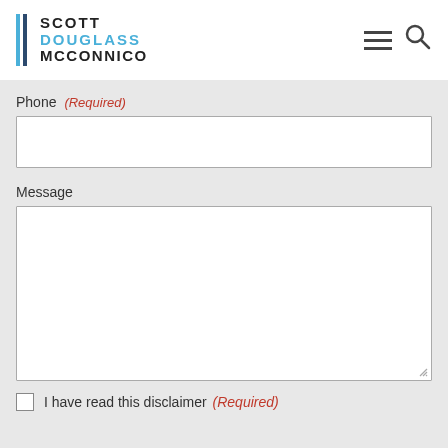SCOTT DOUGLASS McCONNICO
Phone (Required)
Message
I have read this disclaimer (Required)